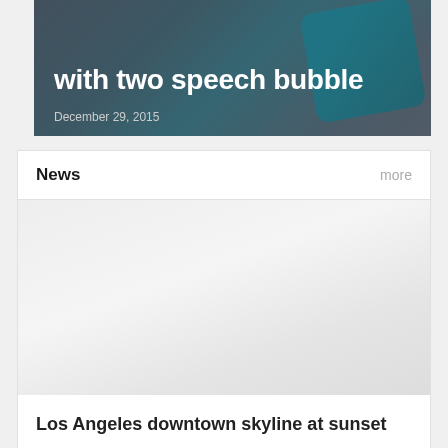[Figure (photo): Hero image showing a keyboard with a teal/cyan speech bubble key, dark overlay with white bold title text and date caption]
with two speech bubble
December 29, 2015
News
more
[Figure (photo): News article image placeholder - light gray area representing a photo of Los Angeles downtown skyline at sunset]
Los Angeles downtown skyline at sunset
Lorem ipsum dolor sit amet, consectetur adipiscing elit. Nam molestio